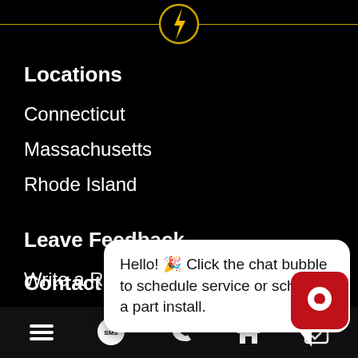[Figure (logo): Yellow lightning bolt logo centered at top with horizontal gold lines]
Locations
Connecticut
Massachusetts
Rhode Island
Leave Feedback
Write a Review
Discoun…
VIP Club…
$25 Off R…
Contact Us
Hello! 🎉 Click the chat bubble to schedule service or schedule a part install.
[Figure (screenshot): Red chat bubble button icon]
[Figure (screenshot): Bottom navigation bar with hamburger menu, SMS, phone, home, and calendar icons]